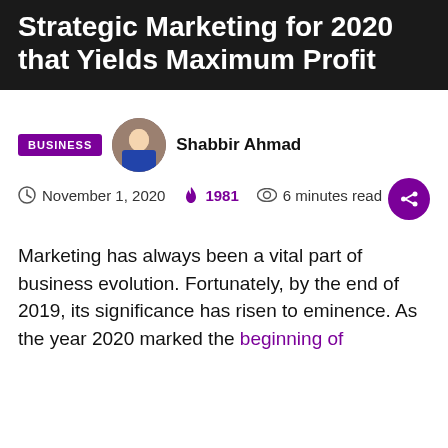Strategic Marketing for 2020 that Yields Maximum Profit
BUSINESS
Shabbir Ahmad
November 1, 2020  1981  6 minutes read
Marketing has always been a vital part of business evolution. Fortunately, by the end of 2019, its significance has risen to eminence. As the year 2020 marked the beginning of